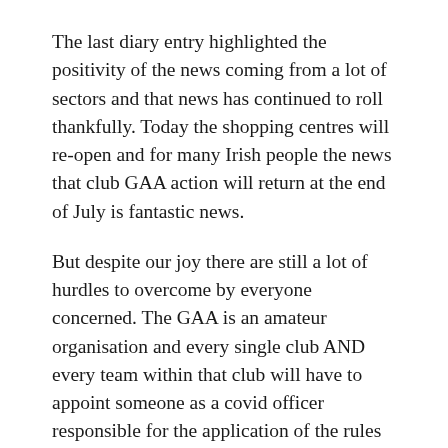The last diary entry highlighted the positivity of the news coming from a lot of sectors and that news has continued to roll thankfully. Today the shopping centres will re-open and for many Irish people the news that club GAA action will return at the end of July is fantastic news.
But despite our joy there are still a lot of hurdles to overcome by everyone concerned. The GAA is an amateur organisation and every single club AND every team within that club will have to appoint someone as a covid officer responsible for the application of the rules and regulations. That position will be a very onerous one carrying huge responsibilities. It will be easy enough to find such people to volunteer for the adult teams but there are big problems ahead getting people to fulfil those roles for every single team especially underage teams. The GAA will also have to pay attention to the safety of players and team officials, gate collectors